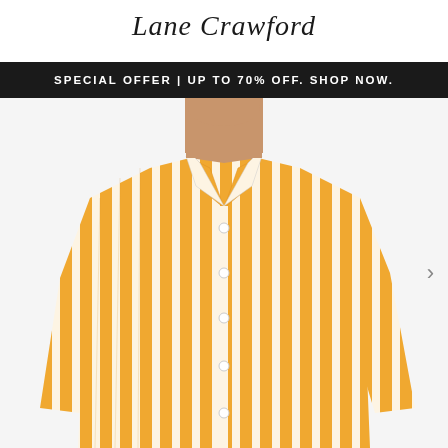Lane Crawford
SPECIAL OFFER | UP TO 70% OFF. SHOP NOW.
[Figure (photo): Model wearing a yellow and white vertical striped oversized button-up shirt, shown from chin to waist, with long sleeves.]